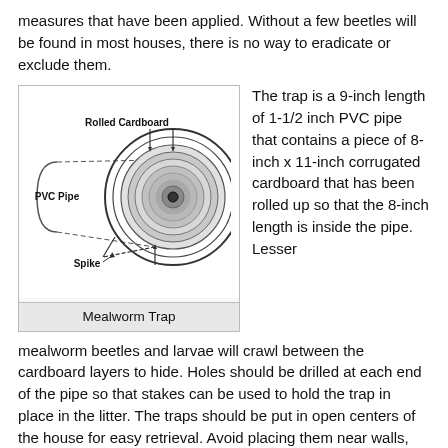measures that have been applied. Without a few beetles will be found in most houses, there is no way to eradicate or exclude them.
[Figure (engineering-diagram): Diagram of a Mealworm Trap showing a side view of a PVC Pipe with a curved/dashed outline and a circular cross-section showing Rolled Cardboard inside. Labels point to Rolled Cardboard, PVC Pipe, and Spike.]
Mealworm Trap
The trap is a 9-inch length of 1-1/2 inch PVC pipe that contains a piece of 8-inch x 11-inch corrugated cardboard that has been rolled up so that the 8-inch length is inside the pipe. Lesser mealworm beetles and larvae will crawl between the cardboard layers to hide. Holes should be drilled at each end of the pipe so that stakes can be used to hold the trap in place in the litter. The traps should be put in open centers of the house for easy retrieval. Avoid placing them near walls, feeders, or waterers. The litter is usually more